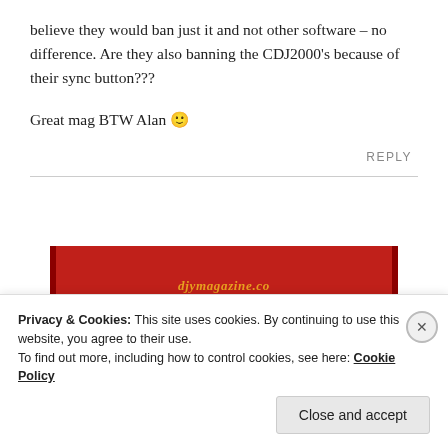believe they would ban just it and not other software – no difference. Are they also banning the CDJ2000's because of their sync button???
Great mag BTW Alan 🙂
REPLY
[Figure (screenshot): Red banner with 'Start reading' button on dark red background with gold italic text partially visible at top]
Privacy & Cookies: This site uses cookies. By continuing to use this website, you agree to their use.
To find out more, including how to control cookies, see here: Cookie Policy
Close and accept